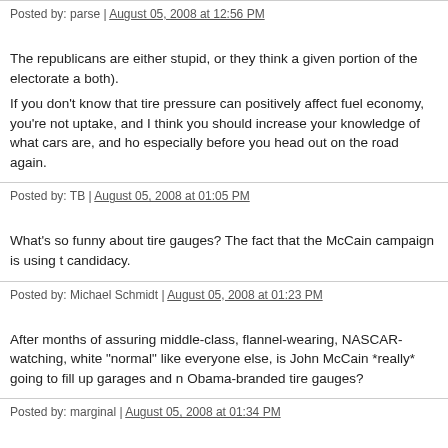Posted by: parse | August 05, 2008 at 12:56 PM
The republicans are either stupid, or they think a given portion of the electorate a both).
If you don't know that tire pressure can positively affect fuel economy, you're not uptake, and I think you should increase your knowledge of what cars are, and ho especially before you head out on the road again.
Posted by: TB | August 05, 2008 at 01:05 PM
What's so funny about tire gauges? The fact that the McCain campaign is using t candidacy.
Posted by: Michael Schmidt | August 05, 2008 at 01:23 PM
After months of assuring middle-class, flannel-wearing, NASCAR-watching, white "normal" like everyone else, is John McCain *really* going to fill up garages and n Obama-branded tire gauges?
Posted by: marginal | August 05, 2008 at 01:34 PM
parse